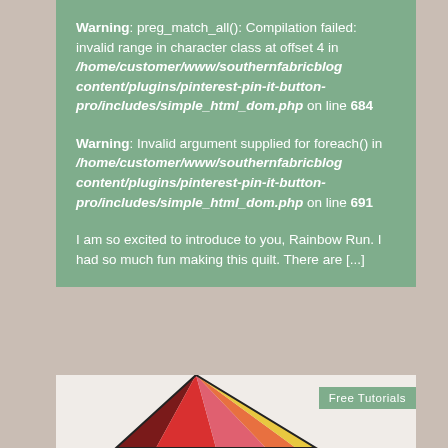Warning: preg_match_all(): Compilation failed: invalid range in character class at offset 4 in /home/customer/www/southernfabricblog content/plugins/pinterest-pin-it-button-pro/includes/simple_html_dom.php on line 684
Warning: Invalid argument supplied for foreach() in /home/customer/www/southernfabricblog content/plugins/pinterest-pin-it-button-pro/includes/simple_html_dom.php on line 691
I am so excited to introduce to you, Rainbow Run. I had so much fun making this quilt. There are [...]
[Figure (illustration): Colorful quilt block showing triangular sections in yellow, orange, red, pink, and maroon on a light background, partially visible at bottom of page. A 'Free Tutorials' badge appears in the upper right of the card.]